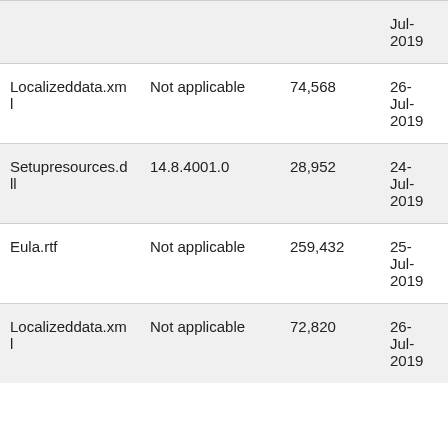|  |  |  | Jul-
2019 |  |
| Localizeddata.xml | Not applicable | 74,568 | 26-
Jul-
2019 | 18: |
| Setupresources.dll | 14.8.4001.0 | 28,952 | 24-
Jul-
2019 | 03: |
| Eula.rtf | Not applicable | 259,432 | 25-
Jul-
2019 | 21: |
| Localizeddata.xml | Not applicable | 72,820 | 26-
Jul-
2019 | 18: |